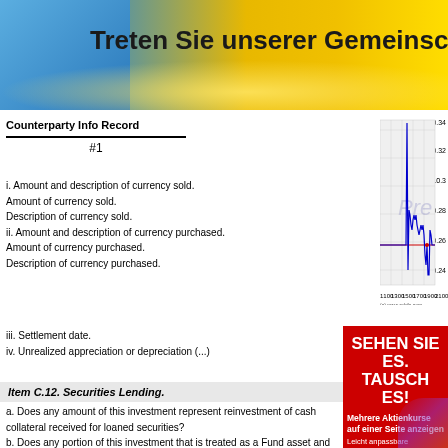Treten Sie unserer Gemeinschaft bei
| Counterparty Info Record | #1 |
| --- | --- |
i. Amount and description of currency sold.
Amount of currency sold.
Description of currency sold.
ii. Amount and description of currency purchased.
Amount of currency purchased.
Description of currency purchased.
iii. Settlement date.
iv. Unrealized appreciation or depreciation (...)
[Figure (continuous-plot): Stock price chart showing price fluctuations between approximately 10.24 and 10.34, with x-axis labels 1100, 1300, 1500, 1700, 1900, 2100. Blue line shows price movement with a sharp spike around 1550-1600. Red horizontal line near 10.26. Watermark 'Pre' visible. Source: (c) www.advfn.com]
iii. Settlement date.
iv. Unrealized appreciation or depreciation (...)
2021-10-13
Item C.12. Securities Lending.
a. Does any amount of this investment represent reinvestment of cash collateral received for loaned securities?
b. Does any portion of this investment that is treated as a Fund asset and received for loaned securities?
c. Is any portion of this investment on loan by the Fund?